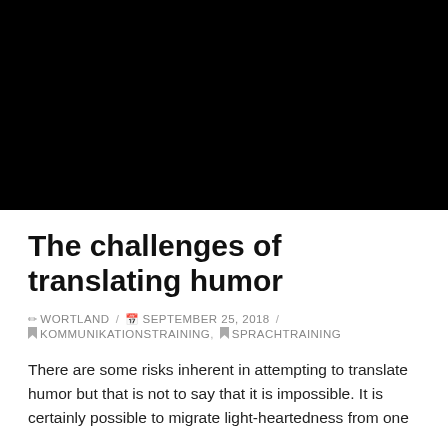[Figure (photo): Black rectangular image placeholder at the top of the page]
The challenges of translating humor
✏ WORTLAND / 📅 SEPTEMBER 25, 2018 / 🔖 KOMMUNIKATIONSTRAINING, 🔖 SPRACHTRAINING
There are some risks inherent in attempting to translate humor but that is not to say that it is impossible. It is certainly possible to migrate light-heartedness from one